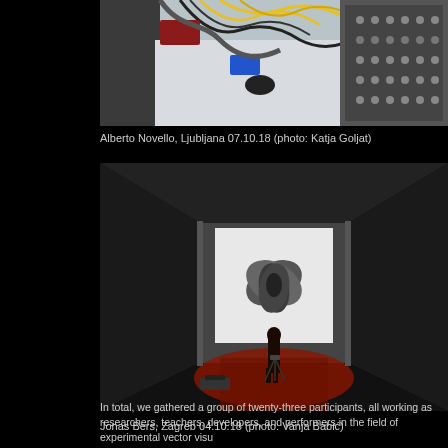[Figure (photo): Electronics and synthesizer equipment on a table with cables and wires, including a modular synthesizer]
Alberto Novello, Ljubljana 07.10.18 (photo: Katja Goljat)
[Figure (photo): Performance scene with a person standing in a dark room illuminated by red light, with a projected abstract image on a screen]
Jonas Bers, Zagreb 04.10.18 (photo: Vanja Babić)
In total, we gathered a group of twenty-three participants, all working as researchers, teachers, developers, and performers in the field of experimental vector visu…